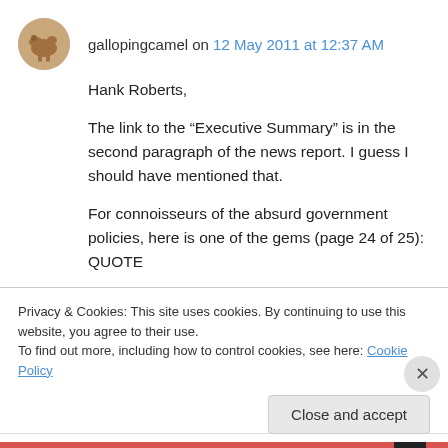gallopingcamel on 12 May 2011 at 12:37 AM
Hank Roberts,
The link to the “Executive Summary” is in the second paragraph of the news report. I guess I should have mentioned that.

For connoisseurs of the absurd government policies, here is one of the gems (page 24 of 25): QUOTE
In the transportation sector, RE fuel mandates or
Privacy & Cookies: This site uses cookies. By continuing to use this website, you agree to their use.
To find out more, including how to control cookies, see here: Cookie Policy
Close and accept